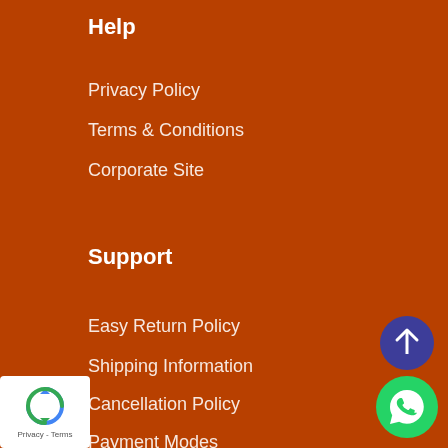Help
Privacy Policy
Terms & Conditions
Corporate Site
Support
Easy Return Policy
Shipping Information
Cancellation Policy
Payment Modes
[Figure (other): Scroll-to-top button: dark blue circle with white upward arrow]
[Figure (other): WhatsApp chat button: green circle with white WhatsApp phone icon]
[Figure (logo): Google reCAPTCHA badge showing recycling-arrow logo and 'Privacy - Terms' text on white background]